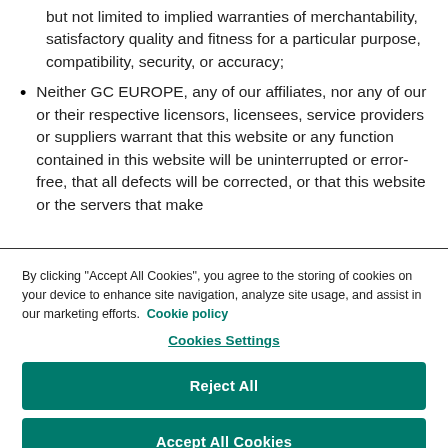but not limited to implied warranties of merchantability, satisfactory quality and fitness for a particular purpose, compatibility, security, or accuracy;
Neither GC EUROPE, any of our affiliates, nor any of our or their respective licensors, licensees, service providers or suppliers warrant that this website or any function contained in this website will be uninterrupted or error-free, that all defects will be corrected, or that this website or the servers that make
By clicking "Accept All Cookies", you agree to the storing of cookies on your device to enhance site navigation, analyze site usage, and assist in our marketing efforts. Cookie policy
Cookies Settings
Reject All
Accept All Cookies